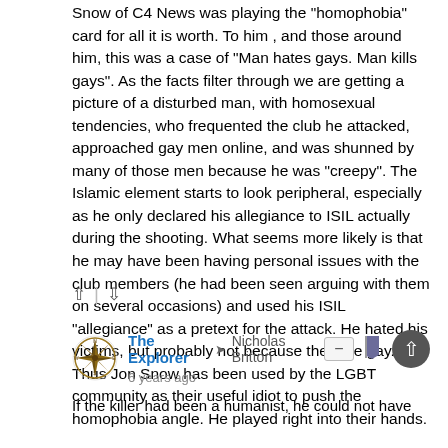Snow of C4 News was playing the "homophobia" card for all it is worth. To him , and those around him, this was a case of "Man hates gays. Man kills gays". As the facts filter through we are getting a picture of a disturbed man, with homosexual tendencies, who frequented the club he attacked, approached gay men online, and was shunned by many of those men because he was "creepy". The Islamic element starts to look peripheral, especially as he only declared his allegiance to ISIL actually during the shooting. What seems more likely is that he may have been having personal issues with the club members (he had been seen arguing with them on several occasions) and used his ISIL "allegiance" as a pretext for the attack. He hated his victims, but probably not because they are gay. Thus Jon Snow has been used by the LGBT community as their useful idiot to push the homophobia angle. He played right into their hands.
The Explorer → Nicholas Britton
6 years ago
If the killer had been a humanist, he could not have